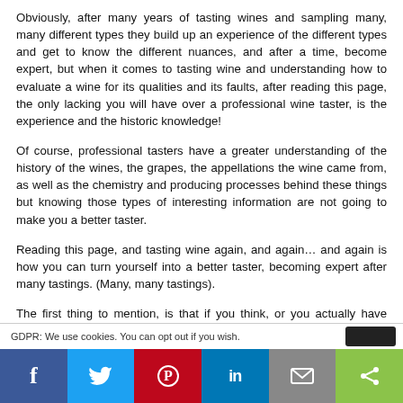Obviously, after many years of tasting wines and sampling many, many different types they build up an experience of the different types and get to know the different nuances, and after a time, become expert, but when it comes to tasting wine and understanding how to evaluate a wine for its qualities and its faults, after reading this page, the only lacking you will have over a professional wine taster, is the experience and the historic knowledge!
Of course, professional tasters have a greater understanding of the history of the wines, the grapes, the appellations the wine came from, as well as the chemistry and producing processes behind these things but knowing those types of interesting information are not going to make you a better taster.
Reading this page, and tasting wine again, and again… and again is how you can turn yourself into a better taster, becoming expert after many tastings. (Many, many tastings).
The first thing to mention, is that if you think, or you actually have Oenophobia, this article is not for you!
Whats Oenophobia?
Oenophobia, is is the fear of wines. The origin of the word is
GDPR: We use cookies. You can opt out if you wish.
[Figure (other): Social media share bar with Facebook, Twitter, Pinterest, LinkedIn, Email, and Share buttons]